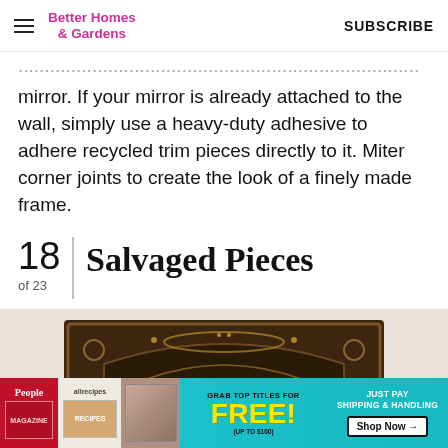Better Homes & Gardens | SUBSCRIBE
mirror. If your mirror is already attached to the wall, simply use a heavy-duty adhesive to adhere recycled trim pieces directly to it. Miter corner joints to create the look of a finely made frame.
18 of 23 | Salvaged Pieces
[Figure (photo): Partial photo of an ornate dark wood/metal decorative panel with embossed scrollwork, mounted on a light beige wall]
[Figure (infographic): Advertisement banner: Grab top titles for FREE! (up to $100) Just Pay Shipping & Handling. Shop Now. Features People and allrecipes magazine covers.]